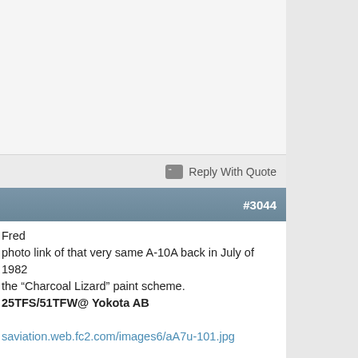[Figure (other): Upper content area of a forum post (blank/image area)]
Reply With Quote
#3044
Fred
photo link of that very same A-10A back in July of 1982
the "Charcoal Lizard" paint scheme.
25TFS/51TFW@ Yokota AB

saviation.web.fc2.com/images6/aA7u-101.jpg